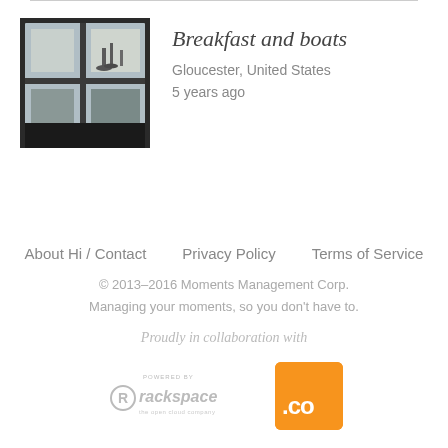[Figure (photo): Photo of a marina/harbor view through a window, dark interior, boats visible outside]
Breakfast and boats
Gloucester, United States
5 years ago
About Hi / Contact   Privacy Policy   Terms of Service
© 2013–2016 Moments Management Corp.
Managing your moments, so you don't have to.
Proudly in collaboration with
[Rackspace logo] [.CO logo]